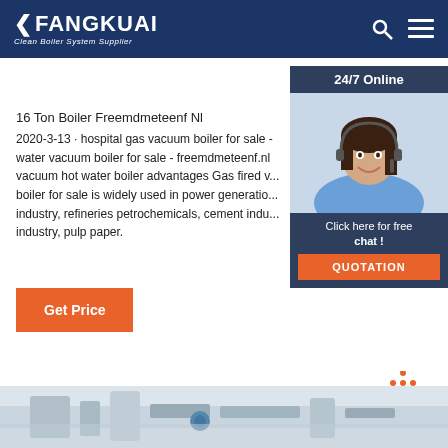FANGKUAI Clean Boiler System Supplier
16 Ton Boiler Freemdmeteenf Nl
2020-3-13 · hospital gas vacuum boiler for sale - water vacuum boiler for sale - freemdmeteenf.nl vacuum hot water boiler advantages Gas fired vacuum boiler for sale is widely used in power generation industry, refineries petrochemicals, cement industry, industry, pulp paper.
[Figure (photo): Customer service representative woman with headset smiling, with '24/7 Online' label and 'Click here for free chat!' call-to-action and QUOTATION button]
Get Price
[Figure (other): TOP navigation button with orange dots arranged in triangle shape above orange italic TOP text]
[Figure (photo): Bottom strip showing industrial boiler piping equipment in a facility]